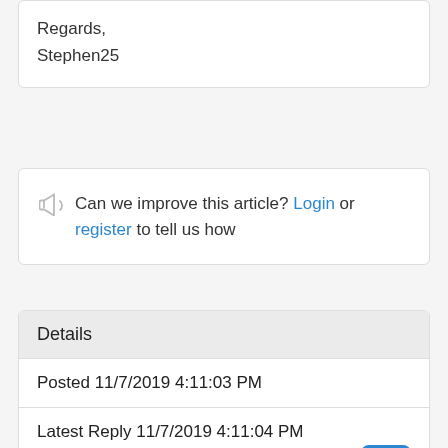Regards,
Stephen25
Can we improve this article? Login or register to tell us how
Details
Posted 11/7/2019 4:11:03 PM
Latest Reply 11/7/2019 4:11:04 PM
6.6K views, 25 replies